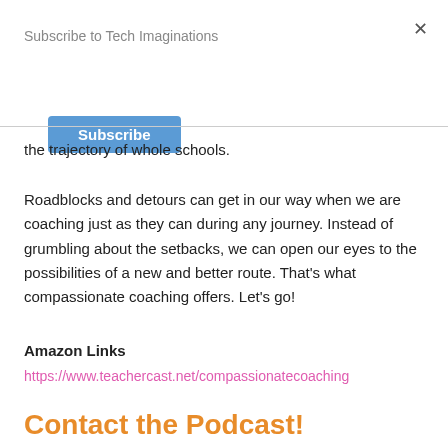Subscribe to Tech Imaginations
[Figure (other): Blue Subscribe button]
the trajectory of whole schools.
Roadblocks and detours can get in our way when we are coaching just as they can during any journey. Instead of grumbling about the setbacks, we can open our eyes to the possibilities of a new and better route. That's what compassionate coaching offers. Let's go!
Amazon Links
https://www.teachercast.net/compassionatecoaching
Contact the Podcast!